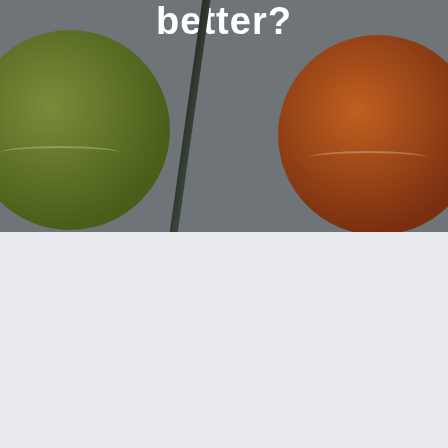[Figure (illustration): Two large decorative spheres (one green-olive on left, one brown on right) against a gray background, with a diagonal dark line/rod across the center. Partial white bold text visible at top reading 'better?']
[Figure (screenshot): Search widget card with a text input field showing placeholder 'Search ...' and a red rounded button labeled 'SEARCH']
[Figure (screenshot): White card with category tag links: ECOMMERCE, MARKETING, WEB in red uppercase text]